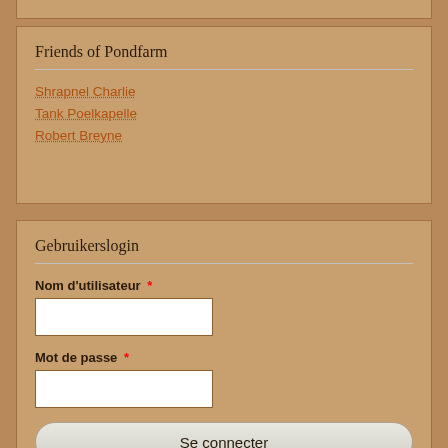Friends of Pondfarm
Shrapnel Charlie
Tank Poelkapelle
Robert Breyne
Gebruikerslogin
Nom d'utilisateur *
Mot de passe *
Se connecter
Créer un nouveau compte
Réinitialiser votre mot de passe